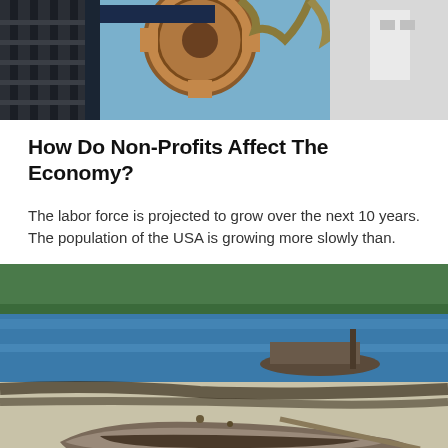[Figure (photo): Top portion of an industrial scene showing crane machinery with chains and metal structures against a blue sky]
How Do Non-Profits Affect The Economy?
The labor force is projected to grow over the next 10 years. The population of the USA is growing more slowly than.
[Figure (photo): Coastal scene with wooden boats on a sandy beach/shore, with green mangrove trees and blue water in the background]
Indonesia Rangrango